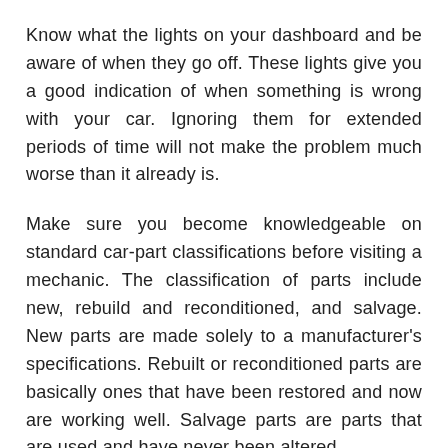Know what the lights on your dashboard and be aware of when they go off. These lights give you a good indication of when something is wrong with your car. Ignoring them for extended periods of time will not make the problem much worse than it already is.
Make sure you become knowledgeable on standard car-part classifications before visiting a mechanic. The classification of parts include new, rebuild and reconditioned, and salvage. New parts are made solely to a manufacturer's specifications. Rebuilt or reconditioned parts are basically ones that have been restored and now are working well. Salvage parts are parts that are used and have never been altered.
Don't keep taking your old car to the shop. Instead, learn to recognize the signs of an impending problem. This article has given you some great